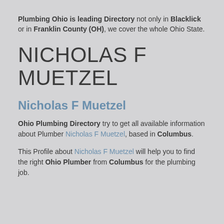Plumbing Ohio is leading Directory not only in Blacklick or in Franklin County (OH), we cover the whole Ohio State.
NICHOLAS F MUETZEL
Nicholas F Muetzel
Ohio Plumbing Directory try to get all available information about Plumber Nicholas F Muetzel, based in Columbus.
This Profile about Nicholas F Muetzel will help you to find the right Ohio Plumber from Columbus for the plumbing job.